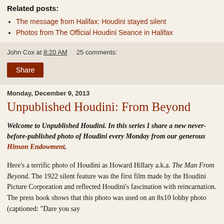Related posts:
The message from Halifax: Houdini stayed silent
Photos from The Official Houdini Seance in Halifax
John Cox at 8:20 AM    25 comments:
Share
Monday, December 9, 2013
Unpublished Houdini: From Beyond
Welcome to Unpublished Houdini. In this series I share a new never-before-published photo of Houdini every Monday from our generous Hinson Endowment.
Here's a terrific photo of Houdini as Howard Hillary a.k.a. The Man From Beyond. The 1922 silent feature was the first film made by the Houdini Picture Corporation and reflected Houdini's fascination with reincarnation. The press book shows that this photo was used on an 8x10 lobby photo (captioned: "Dare you say